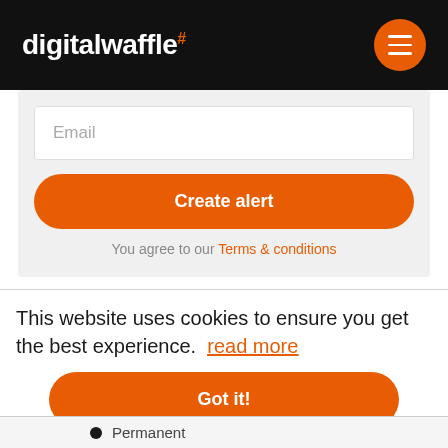digitalwaffle#
Email
Create alert
You agree to our Terms & conditions
This website uses cookies to ensure you get the best experience.  read more
Got it!
Permanent